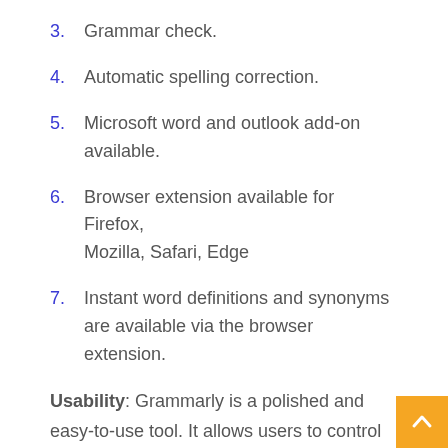3. Grammar check.
4. Automatic spelling correction.
5. Microsoft word and outlook add-on available.
6. Browser extension available for Firefox, Mozilla, Safari, Edge
7. Instant word definitions and synonyms are available via the browser extension.
Usability: Grammarly is a polished and easy-to-use tool. It allows users to control and apply fixes to their work right from the spot. The ability to fix major grammatical issues and plagiarized phrases in a few clicks